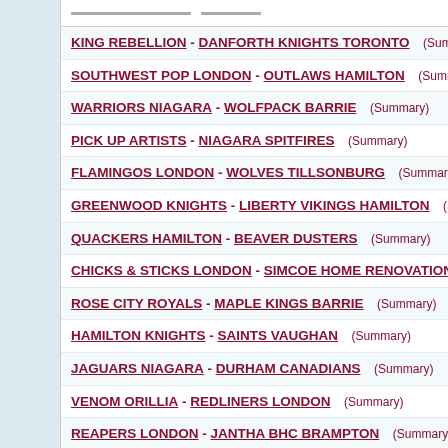KING REBELLION - DANFORTH KNIGHTS TORONTO (Summary)
SOUTHWEST POP LONDON - OUTLAWS HAMILTON (Summary)
WARRIORS NIAGARA - WOLFPACK BARRIE (Summary)
PICK UP ARTISTS - NIAGARA SPITFIRES (Summary)
FLAMINGOS LONDON - WOLVES TILLSONBURG (Summary)
GREENWOOD KNIGHTS - LIBERTY VIKINGS HAMILTON (Summary)
QUACKERS HAMILTON - BEAVER DUSTERS (Summary)
CHICKS & STICKS LONDON - SIMCOE HOME RENOVATIONS BARIE (Su...
ROSE CITY ROYALS - MAPLE KINGS BARRIE (Summary)
HAMILTON KNIGHTS - SAINTS VAUGHAN (Summary)
JAGUARS NIAGARA - DURHAM CANADIANS (Summary)
VENOM ORILLIA - REDLINERS LONDON (Summary)
REAPERS LONDON - JANTHA BHC BRAMPTON (Summary)
SOUTHWEST POP LONDON - PENETANG BLAZERS (Summary)
RED DRAGONS TORONTO - ANGELS PICKERING (Summary)
CHELEM PELICONAS HAMILTON - BOMBERS LONDON (Summary)